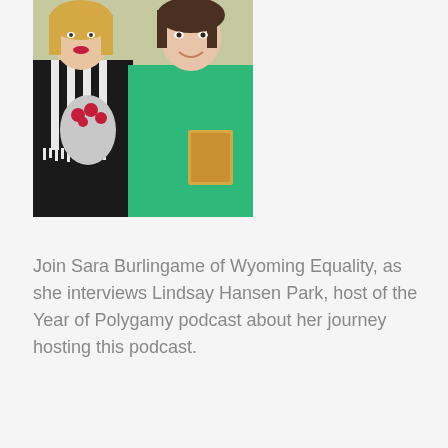[Figure (photo): Two women posing together indoors. The woman on the left has blonde hair, red lipstick, and is wearing a black and white patterned scarf, holding a bouquet of flowers wrapped in paper. The woman on the right has dark hair and is wearing a green top.]
Join Sara Burlingame of Wyoming Equality, as she interviews Lindsay Hansen Park, host of the Year of Polygamy podcast about her journey hosting this podcast.